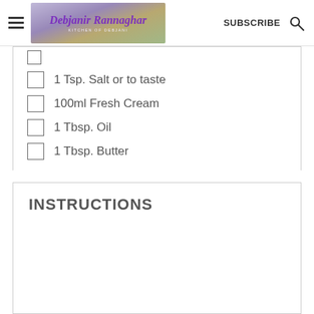Debjanir Rannaghar - KITCHEN OF DEBJANI | SUBSCRIBE
1 Tsp. Salt or to taste
100ml Fresh Cream
1 Tbsp. Oil
1 Tbsp. Butter
INSTRUCTIONS